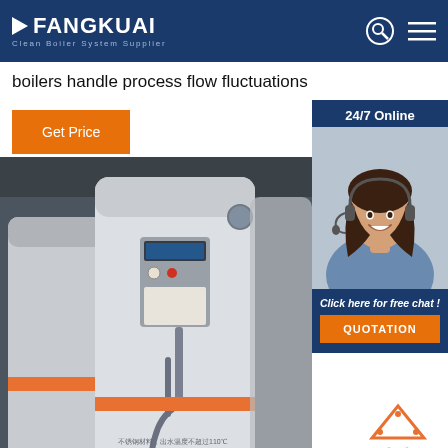FANGKUAI — Clean Boiler System Supplier
boilers handle process flow fluctuations
Get Price
[Figure (photo): Customer service agent with headset smiling, alongside 24/7 Online badge and QUOTATION button]
[Figure (photo): Large white industrial boilers in a factory or industrial setting]
TOP